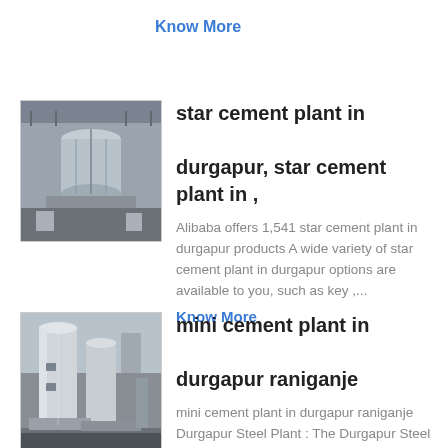Know More
[Figure (photo): Industrial cement plant equipment - cylindrical structures inside a facility]
star cement plant in durgapur, star cement plant in ,
Alibaba offers 1,541 star cement plant in durgapur products A wide variety of star cement plant in durgapur options are available to you, such as key ,...
Know More
[Figure (photo): Mini cement plant in durgapur raniganje - industrial storage silos]
mini cement plant in durgapur raniganje
mini cement plant in durgapur raniganje Durgapur Steel Plant : The Durgapur Steel Plant is loed on the bank of the Domodar River The construction work of the plant stated in 1957 and first blast